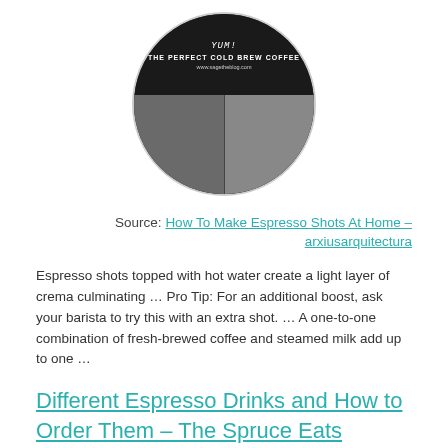[Figure (photo): Circular image with dark chalkboard-style top half showing 'YUM' handwriting, 'THE PERFECT COLD BREW COFFEE' title and 'www.sagetheblog.com' URL, and bottom half showing two photos of coffee-making with jars.]
Source: How To Make Espresso Shots At Home – arxiusarquitectura
Espresso shots topped with hot water create a light layer of crema culminating … Pro Tip: For an additional boost, ask your barista to try this with an extra shot. … A one-to-one combination of fresh-brewed coffee and steamed milk add up to one …
Different Espresso Drinks and How to Order Them – The Spruce Eats